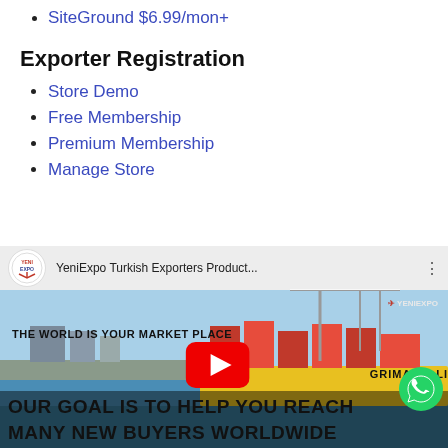SiteGround $6.99/mon+
Exporter Registration
Store Demo
Free Membership
Premium Membership
Manage Store
[Figure (screenshot): YeniExpo Turkish Exporters Product video thumbnail showing a cargo port with shipping containers and a ship. Text reads THE WORLD IS YOUR MARKET PLACE and OUR GOAL IS TO HELP YOU REACH MANY NEW BUYERS WORLDWIDE. YouTube play button visible in center. WhatsApp icon in bottom right.]